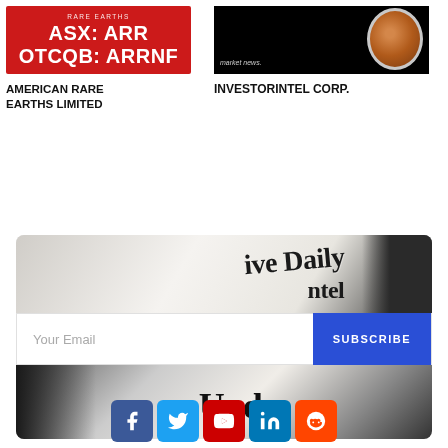[Figure (logo): American Rare Earths Limited logo: red background with white text 'ASX: ARR OTCQB: ARRNF']
AMERICAN RARE EARTHS LIMITED
[Figure (logo): InvestorIntel Corp logo: black background with market news text and coffee cup image]
INVESTORINTEL CORP.
[Figure (photo): Newsletter subscription section with newspaper typewriter image, email input field, and SUBSCRIBE button]
[Figure (photo): Bottom portion of newsletter image with typewriter and newspaper text]
[Figure (infographic): Social media icons row: Facebook, Twitter, YouTube, LinkedIn, Reddit]